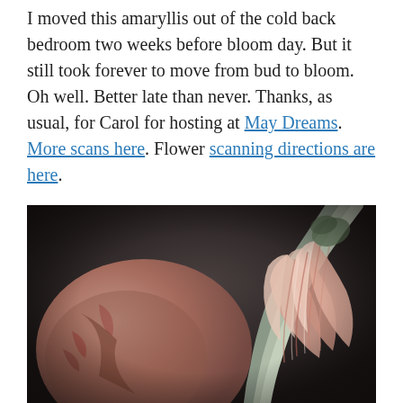I moved this amaryllis out of the cold back bedroom two weeks before bloom day. But it still took forever to move from bud to bloom. Oh well. Better late than never. Thanks, as usual, for Carol for hosting at May Dreams. More scans here. Flower scanning directions are here.
[Figure (photo): Close-up macro scan of an amaryllis flower bud, showing tightly furled pink and white striped petals and pale green stem emerging from a bulb, dark background.]